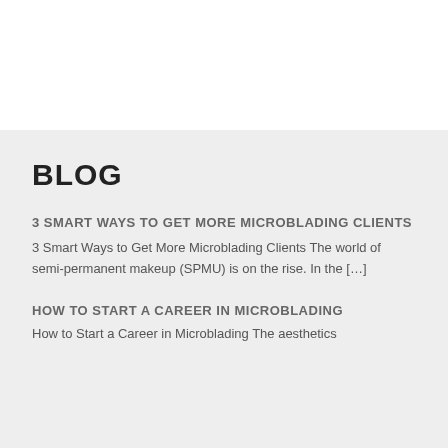BLOG
3 SMART WAYS TO GET MORE MICROBLADING CLIENTS
3 Smart Ways to Get More Microblading Clients The world of semi-permanent makeup (SPMU) is on the rise. In the […]
HOW TO START A CAREER IN MICROBLADING
How to Start a Career in Microblading The aesthetics